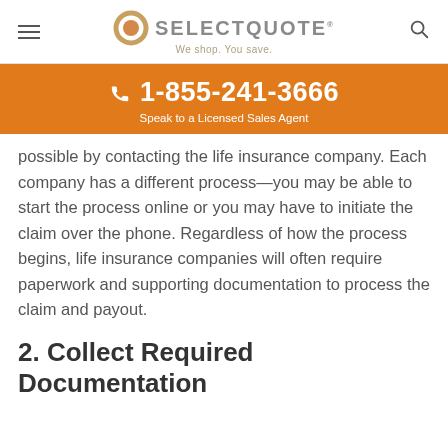SelectQuote — We shop. You save.
☎ 1-855-241-3666
Speak to a Licensed Sales Agent
possible by contacting the life insurance company. Each company has a different process—you may be able to start the process online or you may have to initiate the claim over the phone. Regardless of how the process begins, life insurance companies will often require paperwork and supporting documentation to process the claim and payout.
2. Collect Required Documentation